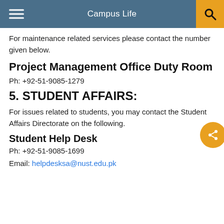Campus Life
For maintenance related services please contact the number given below.
Project Management Office Duty Room
Ph: +92-51-9085-1279
5. STUDENT AFFAIRS:
For issues related to students, you may contact the Student Affairs Directorate on the following.
Student Help Desk
Ph: +92-51-9085-1699
Email: helpdesksa@nust.edu.pk